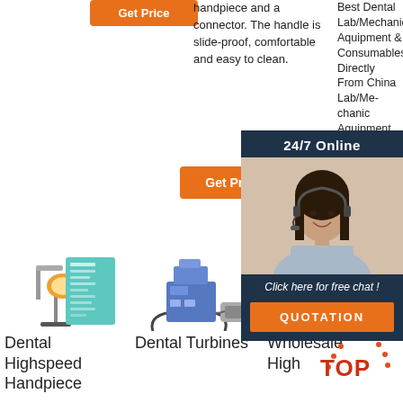[Figure (screenshot): Orange Get Price button at top left]
handpiece and a connector. The handle is slide-proof, comfortable and easy to clean.
Best Dental Lab/Mechanic Aquipment & Consumables Directly From China Lab/Mechanic Aquipment
[Figure (screenshot): Orange Get Price button in middle column]
[Figure (screenshot): Orange Get button in right column]
[Figure (photo): Customer service representative with headset - 24/7 Online chat overlay with QUOTATION button]
[Figure (photo): Dental Highspeed Handpiece product image]
Dental Highspeed Handpiece
[Figure (photo): Dental Turbines product image]
Dental Turbines
[Figure (photo): Wholesale High Speed product image]
Wholesale High Speed
[Figure (logo): TOP badge with dotted arc in red/orange]